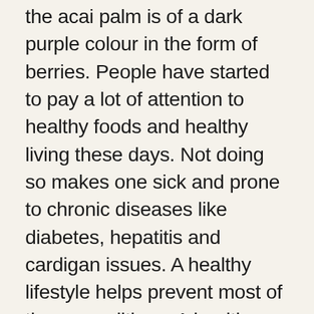the acai palm is of a dark purple colour in the form of berries. People have started to pay a lot of attention to healthy foods and healthy living these days. Not doing so makes one sick and prone to chronic diseases like diabetes, hepatitis and cardigan issues. A healthy lifestyle helps prevent most of these conditions. A healthy food is an integral part of such a lifestyle. It is, by far, the most important component of such a lifestyle. Other than food, exercise and positive thinking are also involved. Proponents of a healthy lifestyle express support for eating foods that have health benefits and that do not allow the accumulation of fats in the